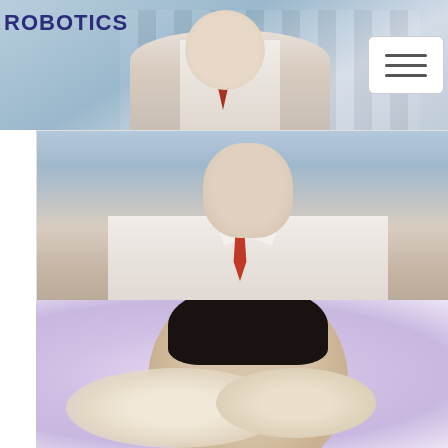ROBOTICS
[Figure (photo): Top header photo showing a person in a dress shirt and tie, with a blurred building/city background. ROBOTICS text overlaid on left.]
[Figure (photo): Navigation hamburger menu button (three horizontal lines) in a rounded rectangle border on the right side of the header.]
Christoforos Mavrogiannis
Human-Centered Robotics Lab
[Figure (photo): Photo of a young man with dark hair and beard, smiling, holding a light-colored cat. Purple/pink blurred background.]